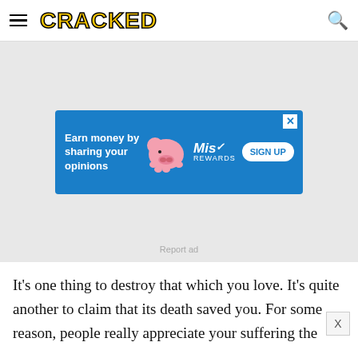CRACKED
[Figure (screenshot): Advertisement banner: blue background with pink pig cartoon, text 'Earn money by sharing your opinions', MissRewards logo, and SIGN UP button]
Report ad
It's one thing to destroy that which you love. It's quite another to claim that its death saved you. For some reason, people really appreciate your suffering the